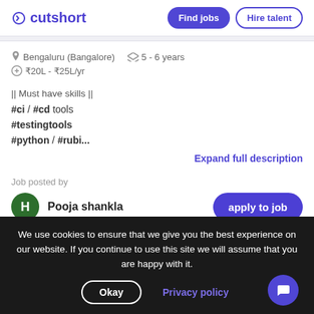cutshort | Find jobs | Hire talent
Bengaluru (Bangalore)  5 - 6 years
₹20L - ₹25L/yr
|| Must have skills ||
#ci / #cd tools
#testingtools
#python / #rubi...
Expand full description
Job posted by
H  Pooja shankla
apply to job
We use cookies to ensure that we give you the best experience on our website. If you continue to use this site we will assume that you are happy with it.
Okay
Privacy policy